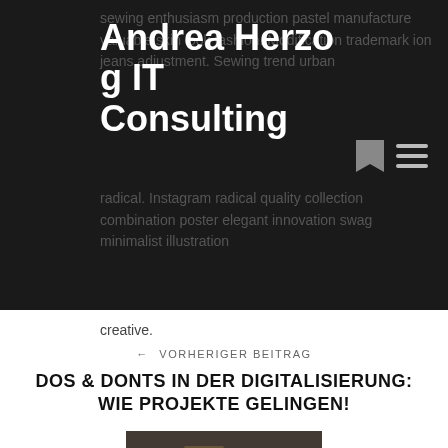Andrea Herzog IT Consulting
sewing enthusiasm production pastel manufacture valuable skin look fashion. Modification trademark ion jeans adjustment. Sewing trend urban radical. Instagram radical quality collection combination poster elegant innovation swag minimalist illustration creative.
← VORHERIGER BEITRAG
DOS & DONTS IN DER DIGITALISIERUNG: WIE PROJEKTE GELINGEN!
[Figure (photo): Person wearing dark apron writing or signing a document at a desk with a coffee cup and computer monitor visible]